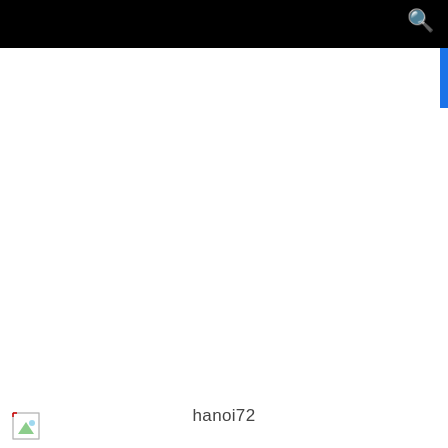[Figure (screenshot): Broken image thumbnail icon in the bottom-left area]
hanoi72